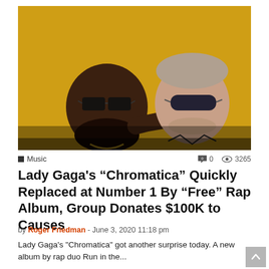[Figure (photo): Two men posing against a yellow background. On the left, a large Black man wearing black-rimmed glasses, a black shirt, and a gold chain. On the right, a white man wearing dark sunglasses and a black jacket. The man on the left has his arm around the man on the right.]
Music   0   3265
Lady Gaga’s “Chromatica” Quickly Replaced at Number 1 By “Free” Rap Album, Group Donates $100K to Causes
by Roger Friedman - June 3, 2020 11:18 pm
Lady Gaga's "Chromatica" got another surprise today. A new album by rap duo Run in the...